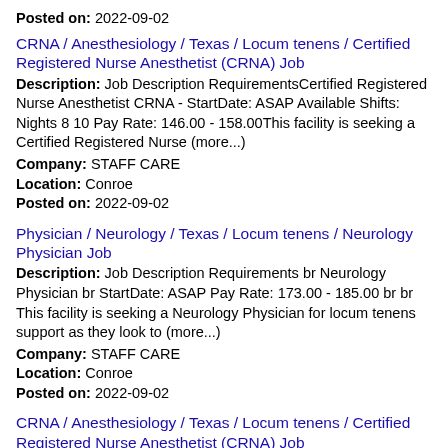Posted on: 2022-09-02
CRNA / Anesthesiology / Texas / Locum tenens / Certified Registered Nurse Anesthetist (CRNA) Job
Description: Job Description RequirementsCertified Registered Nurse Anesthetist CRNA - StartDate: ASAP Available Shifts: Nights 8 10 Pay Rate: 146.00 - 158.00This facility is seeking a Certified Registered Nurse (more...)
Company: STAFF CARE
Location: Conroe
Posted on: 2022-09-02
Physician / Neurology / Texas / Locum tenens / Neurology Physician Job
Description: Job Description Requirements br Neurology Physician br StartDate: ASAP Pay Rate: 173.00 - 185.00 br br This facility is seeking a Neurology Physician for locum tenens support as they look to (more...)
Company: STAFF CARE
Location: Conroe
Posted on: 2022-09-02
CRNA / Anesthesiology / Texas / Locum tenens / Certified Registered Nurse Anesthetist (CRNA) Job
Description: Job Description Requirements br Certified Registered Nurse Anesthetist CRNA - br StartDate: ASAP Available Shifts: Nights 8 10 Pay Rate: 146.00 - 158.00 br br This